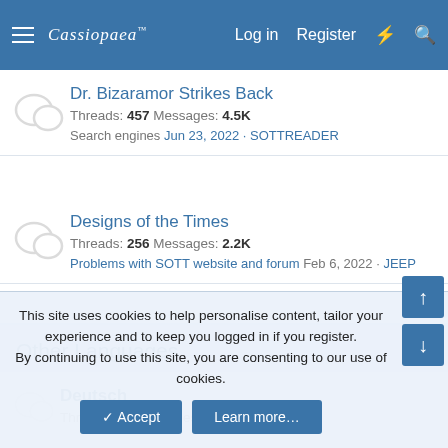Cassiopaea | Log in | Register
Dr. Bizaramor Strikes Back
Threads: 457 Messages: 4.5K
Search engines Jun 23, 2022 · SOTTREADER
Designs of the Times
Threads: 256 Messages: 2.2K
Problems with SOTT website and forum Feb 6, 2022 · JEEP
Other Languages
Deutsch
Threads: 84 Messages: 875
This site uses cookies to help personalise content, tailor your experience and to keep you logged in if you register. By continuing to use this site, you are consenting to our use of cookies.